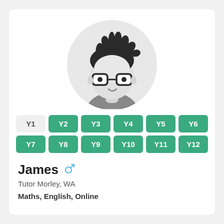[Figure (illustration): Cartoon avatar of a young male tutor with dark spiky hair, glasses, and a grey shirt, displayed inside a light grey circle]
Y1
Y2
Y3
Y4
Y5
Y6
Y7
Y8
Y9
Y10
Y11
Y12
James
Tutor Morley, WA
Maths, English, Online